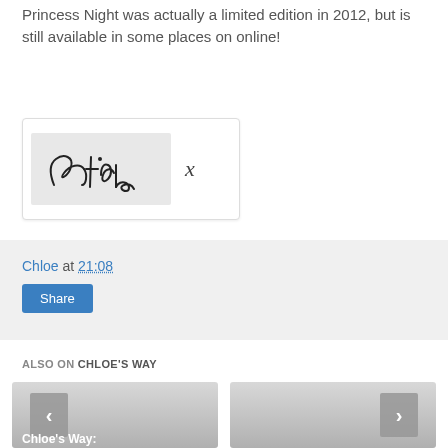Princess Night was actually a limited edition in 2012, but is still available in some places on online!
[Figure (illustration): Handwritten signature reading 'Chloe x' on a light grey background inside a white bordered box]
Chloe at 21:08
Share
ALSO ON CHLOE'S WAY
[Figure (photo): Card thumbnail with text 'Chloe's Way:' and left navigation arrow]
[Figure (photo): Card thumbnail with right navigation arrow]